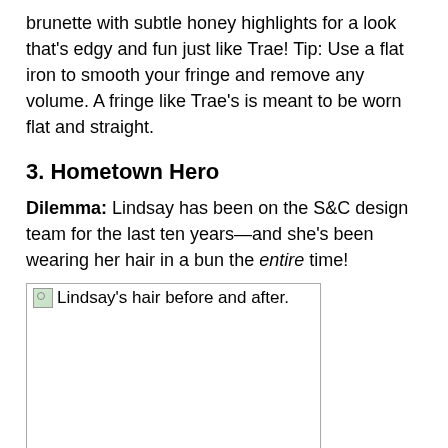brunette with subtle honey highlights for a look that's edgy and fun just like Trae! Tip: Use a flat iron to smooth your fringe and remove any volume. A fringe like Trae's is meant to be worn flat and straight.
3. Hometown Hero
Dilemma: Lindsay has been on the S&C design team for the last ten years—and she's been wearing her hair in a bun the entire time!
[Figure (photo): Lindsay's hair before and after. Broken image placeholder shown.]